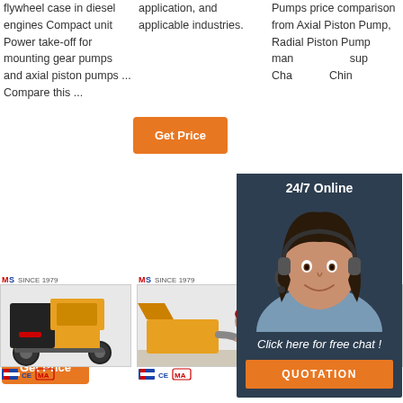flywheel case in diesel engines Compact unit Power take-off for mounting gear pumps and axial piston pumps ... Compare this ...
[Figure (other): Orange Get Price button in column 1]
application, and applicable industries.
[Figure (other): Orange Get Price button in column 2]
Pumps price comparison from Axial Piston Pump, Radial Piston Pump manufacturers, suppliers. Cha... Chin...
[Figure (other): Orange G... button partially visible in column 3]
[Figure (other): 24/7 Online chat overlay with agent photo woman with headset, Click here for free chat!, QUOTATION button]
[Figure (other): Brand logo MS Since 1979 column 1]
[Figure (photo): Yellow and black concrete pump machine on wheels, product image column 1]
[Figure (other): Brand logo MS Since 1979 column 2]
[Figure (photo): Orange concrete pump machine with worker in red helmet, product image column 2]
[Figure (other): Brand logo MS Since 1979 column 3]
[Figure (photo): Teal/green mini excavator with TOP watermark, product image column 3]